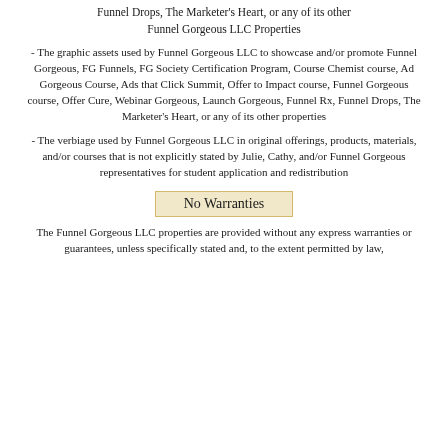Funnel Drops, The Marketer's Heart, or any of its other Funnel Gorgeous LLC Properties
- The graphic assets used by Funnel Gorgeous LLC to showcase and/or promote Funnel Gorgeous, FG Funnels, FG Society Certification Program, Course Chemist course, Ad Gorgeous Course, Ads that Click Summit, Offer to Impact course, Funnel Gorgeous course, Offer Cure, Webinar Gorgeous, Launch Gorgeous, Funnel Rx, Funnel Drops, The Marketer's Heart, or any of its other properties
- The verbiage used by Funnel Gorgeous LLC in original offerings, products, materials, and/or courses that is not explicitly stated by Julie, Cathy, and/or Funnel Gorgeous representatives for student application and redistribution
No Warranties
The Funnel Gorgeous LLC properties are provided without any express warranties or guarantees, unless specifically stated and, to the extent permitted by law,